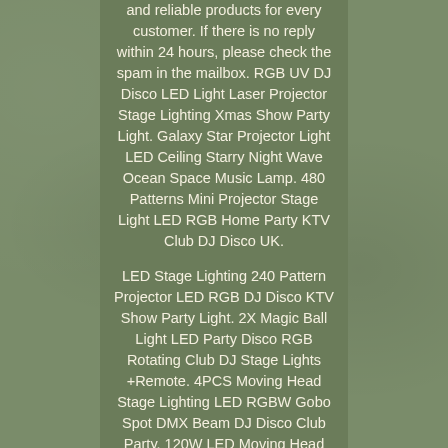and reliable products for every customer. If there is no reply within 24 hours, please check the spam in the mailbox. RGB UV DJ Disco LED Light Laser Projector Stage Lighting Xmas Show Party Light. Galaxy Star Projector Light LED Ceiling Starry Night Wave Ocean Space Music Lamp. 480 Patterns Mini Projector Stage Light LED RGB Home Party KTV Club DJ Disco UK.

LED Stage Lighting 240 Pattern Projector LED RGB DJ Disco KTV Show Party Light. 2X Magic Ball Light LED Party Disco RGB Rotating Club DJ Stage Lights +Remote. 4PCS Moving Head Stage Lighting LED RGBW Gobo Spot DMX Beam DJ Disco Club Party. 120W LED Moving Head Light RGBW Gobo DMX Beam Effect DJ Disco Show Stage Lighs. 4PCS 120W Moving Head DJ LED Spot Stage Lighting RGBW Gobo DMX Disco Party Light.

2PCS 120W RGBW Moving Head Stage Lighting LED DJ DMX Beam Bar Disco Party Light. 4PCS Moving Head 120W Stage Lighting LED RGBW Spot DMX Beam DJ Disco Club Party. This item is in the category "Musical Instruments & DJ Equipment\Stage Lighting & Effects\Stage Lighting Single Units". The seller is "uking-xiongtu" and is located in this country: GB.